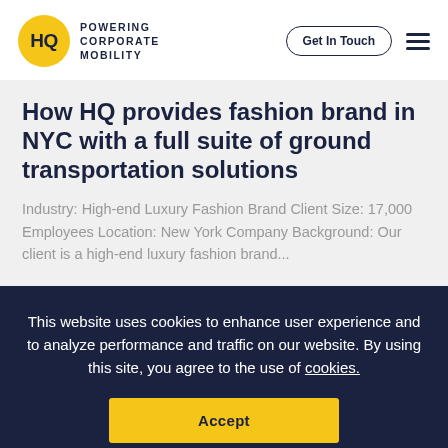HQ POWERING CORPORATE MOBILITY | Get In Touch
How HQ provides fashion brand in NYC with a full suite of ground transportation solutions
Industry: High-end Luxury Fashion Brand Client Size: 17,000 Employees Location: New York Company Background: Our client is a high-end luxury fashion brand...
This website uses cookies to enhance user experience and to analyze performance and traffic on our website. By using this site, you agree to the use of cookies.
Accept